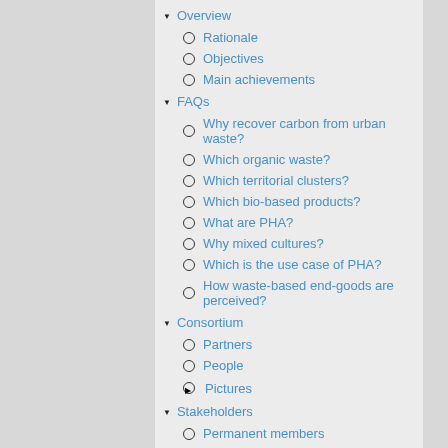Overview
Rationale
Objectives
Main achievements
FAQs
Why recover carbon from urban waste?
Which organic waste?
Which territorial clusters?
Which bio-based products?
What are PHA?
Why mixed cultures?
Which is the use case of PHA?
How waste-based end-goods are perceived?
Consortium
Partners
People
Pictures
Stakeholders
Permanent members
Local members
Structure
Governance
Project Coordinator